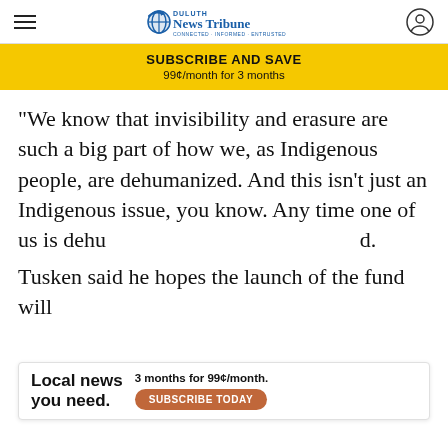Duluth News Tribune
SUBSCRIBE AND SAVE
99¢/month for 3 months
“We know that invisibility and erasure are such a big part of how we, as Indigenous people, are dehumanized. And this isn’t just an Indigenous issue, you know. Any time one of us is dehu[manized]...d.
Tusken said he hopes the launch of the fund will
[Figure (other): Local news advertisement banner: 'Local news you need. 3 months for 99¢/month. SUBSCRIBE TODAY']